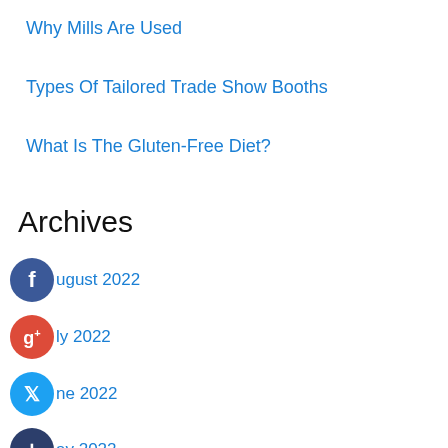Why Mills Are Used
Types Of Tailored Trade Show Booths
What Is The Gluten-Free Diet?
Archives
August 2022
July 2022
June 2022
May 2022
April 2022
March 2022